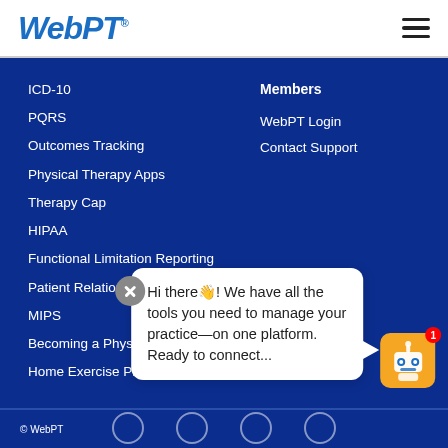WebPT
ICD-10
PQRS
Outcomes Tracking
Physical Therapy Apps
Therapy Cap
HIPAA
Functional Limitation Reporting
Patient Relationship Management
MIPS
Becoming a Physical Therapist
Home Exercise Program
Members
WebPT Login
Contact Support
Hi there👋! We have all the tools you need to manage your practice—on one platform. Ready to connect...
© WebPT